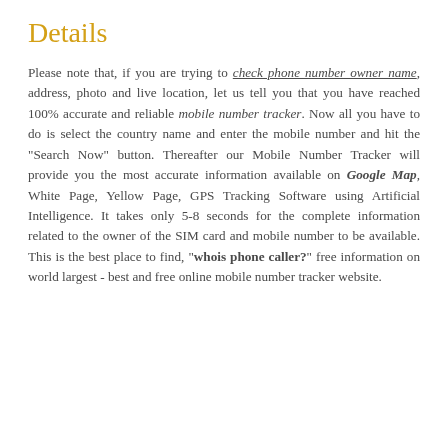Details
Please note that, if you are trying to check phone number owner name, address, photo and live location, let us tell you that you have reached 100% accurate and reliable mobile number tracker. Now all you have to do is select the country name and enter the mobile number and hit the "Search Now" button. Thereafter our Mobile Number Tracker will provide you the most accurate information available on Google Map, White Page, Yellow Page, GPS Tracking Software using Artificial Intelligence. It takes only 5-8 seconds for the complete information related to the owner of the SIM card and mobile number to be available. This is the best place to find, "whois phone caller?" free information on world largest - best and free online mobile number tracker website.